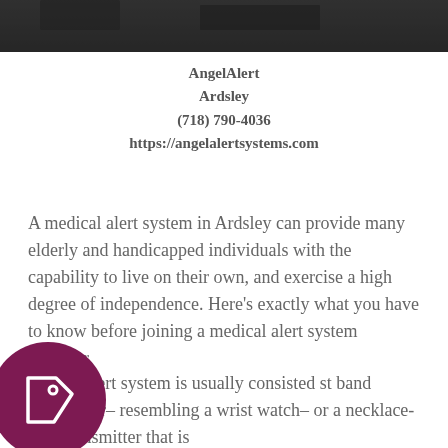[Figure (photo): Dark grainy image at top of page, appears to be a photo background]
AngelAlert
Ardsley
(718) 790-4036
https://angelalertsystems.com
A medical alert system in Ardsley can provide many elderly and handicapped individuals with the capability to live on their own, and exercise a high degree of independence. Here’s exactly what you have to know before joining a medical alert system provider.
ally, an alert system is usually consisted st band transmitter– resembling a wrist watch– or a necklace-type transmitter that is
[Figure (illustration): Dark magenta/purple circular icon with a price tag outline symbol inside]